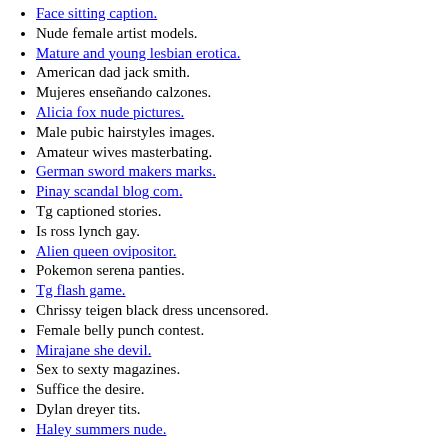Face sitting caption.
Nude female artist models.
Mature and young lesbian erotica.
American dad jack smith.
Mujeres enseñando calzones.
Alicia fox nude pictures.
Male pubic hairstyles images.
Amateur wives masterbating.
German sword makers marks.
Pinay scandal blog com.
Tg captioned stories.
Is ross lynch gay.
Alien queen ovipositor.
Pokemon serena panties.
Tg flash game.
Chrissy teigen black dress uncensored.
Female belly punch contest.
Mirajane she devil.
Sex to sexty magazines.
Suffice the desire.
Dylan dreyer tits.
Haley summers nude.
The Ultimate Guide to Being a Submissive